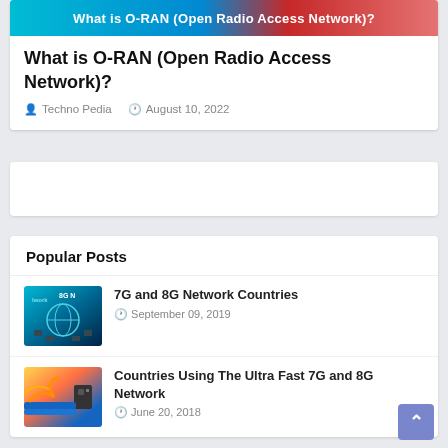[Figure (screenshot): Banner image for O-RAN article with cyan/blue/red gradient and white text 'What is O-RAN (Open Radio Access Network)?']
What is O-RAN (Open Radio Access Network)?
Techno Pedia   August 10, 2022
[Figure (other): Advertisement placeholder card (empty white card)]
Popular Posts
[Figure (photo): Thumbnail image for 7G and 8G Network Countries post - globe with network connections]
7G and 8G Network Countries
September 09, 2019
[Figure (photo): Thumbnail image for Countries Using The Ultra Fast 7G and 8G Network post - cables and speakers]
Countries Using The Ultra Fast 7G and 8G Network
June 20, 2018